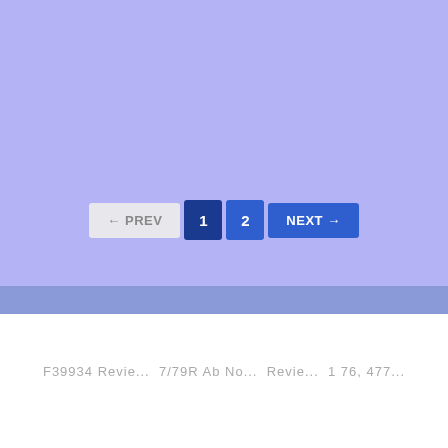[Figure (screenshot): Pagination controls showing PREV button, page number buttons 1 and 2, and NEXT button on a light purple/lavender background]
Add-on Reviews
F39934 Revie... 7/79R Ab No... Revie... 1 76, 477...